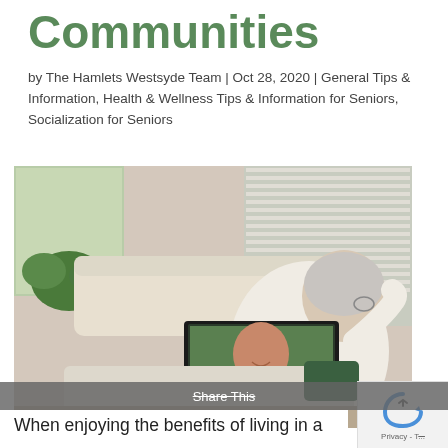Communities
by The Hamlets Westsyde Team | Oct 28, 2020 | General Tips & Information, Health & Wellness Tips & Information for Seniors, Socialization for Seniors
[Figure (photo): An elderly man sitting on a couch, viewed from behind, having a video call on a laptop with a smiling woman in a yellow shirt. The room has windows with blinds and indoor plants.]
When enjoying the benefits of living in a senior community, it is important to